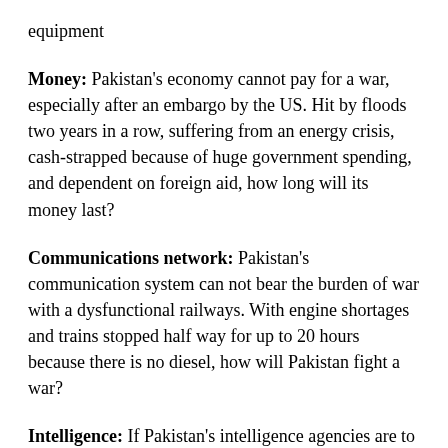equipment
Money: Pakistan's economy cannot pay for a war, especially after an embargo by the US. Hit by floods two years in a row, suffering from an energy crisis, cash-strapped because of huge government spending, and dependent on foreign aid, how long will its money last?
Communications network: Pakistan's communication system can not bear the burden of war with a dysfunctional railways. With engine shortages and trains stopped half way for up to 20 hours because there is no diesel, how will Pakistan fight a war?
Intelligence: If Pakistan's intelligence agencies are to be believed, they had no clue about the presence of Osama bin Laden in Pakistan in Pakistan, a planned US raid to kill him, or even about the activities of Raymond Davis and CIA contractors like him. On the contrary, it is accused of targeting